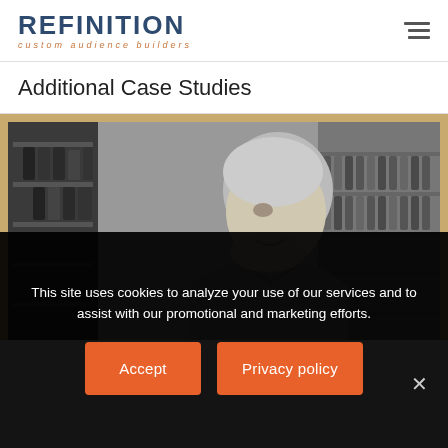REFINITION custom audience builders
Additional Case Studies
[Figure (photo): Black and white photo of a person browsing wine bottles on shelves in a wine shop or cellar, viewed from the side, smiling.]
This site uses cookies to analyze your use of our services and to assist with our promotional and marketing efforts.
Accept
Privacy policy